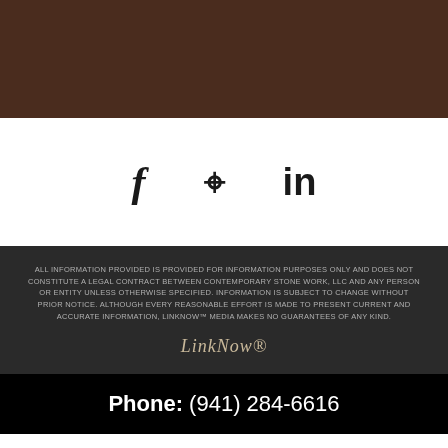[Figure (other): Dark brown decorative header bar]
[Figure (other): Social media icons: Facebook (f), Location pin, LinkedIn (in)]
ALL INFORMATION PROVIDED IS PROVIDED FOR INFORMATION PURPOSES ONLY AND DOES NOT CONSTITUTE A LEGAL CONTRACT BETWEEN CONTEMPORARY STONE WORK, LLC AND ANY PERSON OR ENTITY UNLESS OTHERWISE SPECIFIED. INFORMATION IS SUBJECT TO CHANGE WITHOUT PRIOR NOTICE. ALTHOUGH EVERY REASONABLE EFFORT IS MADE TO PRESENT CURRENT AND ACCURATE INFORMATION, LINKNOW™ MEDIA MAKES NO GUARANTEES OF ANY KIND.
[Figure (logo): LinkNow® logo in decorative script]
Phone: (941) 284-6616